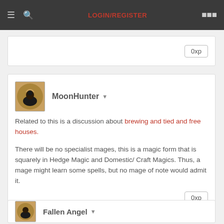LOGIN/REGISTER
0xp
MoonHunter
Related to this is a discussion about brewing and tied and free houses.

There will be no specialist mages, this is a magic form that is squarely in Hedge Magic and Domestic/ Craft Magics. Thus, a mage might learn some spells, but no mage of note would admit it.
0xp
Fallen Angel